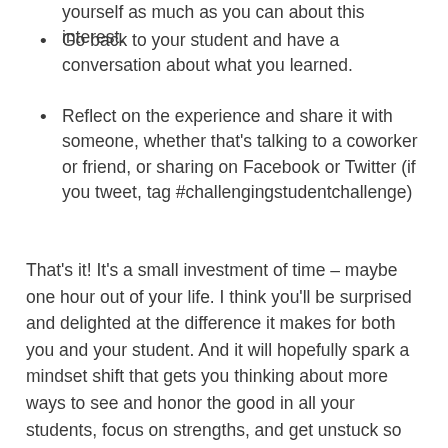yourself as much as you can about this interest.
Go back to your student and have a conversation about what you learned.
Reflect on the experience and share it with someone, whether that's talking to a coworker or friend, or sharing on Facebook or Twitter (if you tweet, tag #challengingstudentchallenge)
That's it! It's a small investment of time – maybe one hour out of your life. I think you'll be surprised and delighted at the difference it makes for both you and your student. And it will hopefully spark a mindset shift that gets you thinking about more ways to see and honor the good in all your students, focus on strengths, and get unstuck so we can all move forward together.